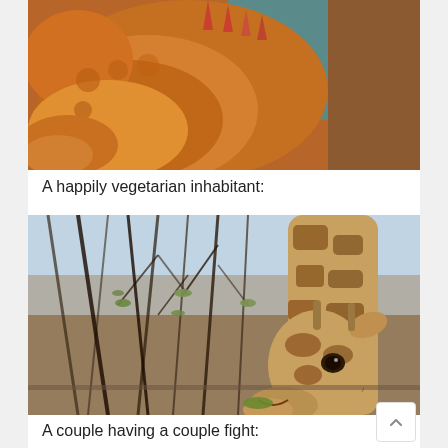[Figure (photo): Close-up photo of an iguana or lizard with orange/brown scaly skin and spines, shot from above at close range]
A happily vegetarian inhabitant:
[Figure (photo): A giraffe eating leaves from tree branches against a blue sky background, photographed from a low angle close to the giraffe's face]
A couple having a couple fight: